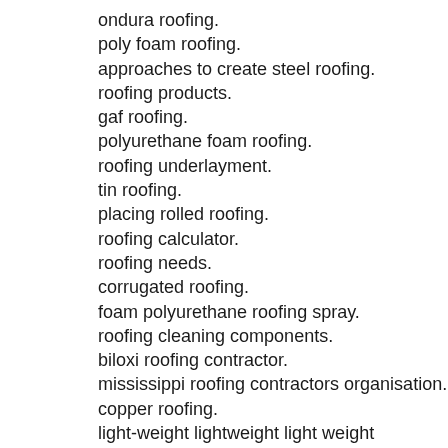ondura roofing.
poly foam roofing.
approaches to create steel roofing.
roofing products.
gaf roofing.
polyurethane foam roofing.
roofing underlayment.
tin roofing.
placing rolled roofing.
roofing calculator.
roofing needs.
corrugated roofing.
foam polyurethane roofing spray.
roofing cleaning components.
biloxi roofing contractor.
mississippi roofing contractors organisation.
copper roofing.
light-weight lightweight light weight aluminum